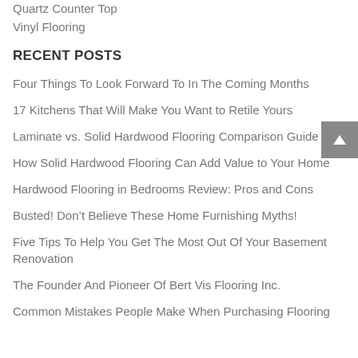Quartz Counter Top
Vinyl Flooring
RECENT POSTS
Four Things To Look Forward To In The Coming Months
17 Kitchens That Will Make You Want to Retile Yours
Laminate vs. Solid Hardwood Flooring Comparison Guide
How Solid Hardwood Flooring Can Add Value to Your Home
Hardwood Flooring in Bedrooms Review: Pros and Cons
Busted! Don’t Believe These Home Furnishing Myths!
Five Tips To Help You Get The Most Out Of Your Basement Renovation
The Founder And Pioneer Of Bert Vis Flooring Inc.
Common Mistakes People Make When Purchasing Flooring